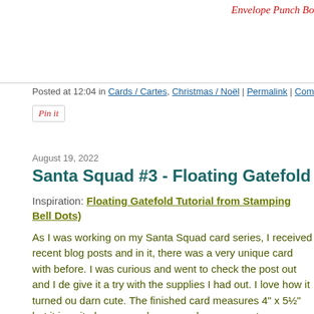Envelope Punch Board, Ribbon (Sta
Posted at 12:04 in Cards / Cartes, Christmas / Noël | Permalink | Comments (4)
[Figure (other): Pin it button]
August 19, 2022
Santa Squad #3 - Floating Gatefold Nutcr
Inspiration: Floating Gatefold Tutorial from Stamping Bell Dots)
As I was working on my Santa Squad card series, I received recent blog posts and in it, there was a very unique card with before. I was curious and went to check the post out and I de give it a try with the supplies I had out. I love how it turned ou darn cute. The finished card measures 4" x 5½" but it is quite larger envelope or make your own to accommodate for the e adding the silver adhesive stars in the corners because I thin and off more difficult for the person who receives the card.